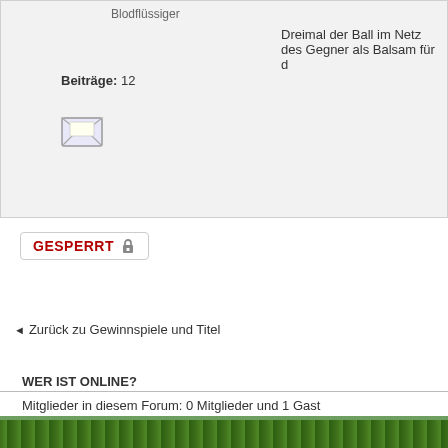Blodflüssiger
Dreimal der Ball im Netz des Gegner als Balsam für d...
Beiträge: 12
[Figure (illustration): Envelope icon for private message]
GESPERRT 🔒
← Zurück zu Gewinnspiele und Titel
WER IST ONLINE?
Mitglieder in diesem Forum: 0 Mitglieder und 1 Gast
🏠 Foren-Übersicht
Original Style by Echo © 2...
Powered by phpBB
Deutsche...